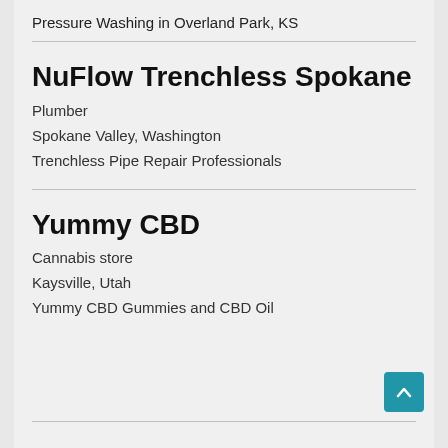Pressure Washing in Overland Park, KS
NuFlow Trenchless Spokane
Plumber
Spokane Valley, Washington
Trenchless Pipe Repair Professionals
Yummy CBD
Cannabis store
Kaysville, Utah
Yummy CBD Gummies and CBD Oil